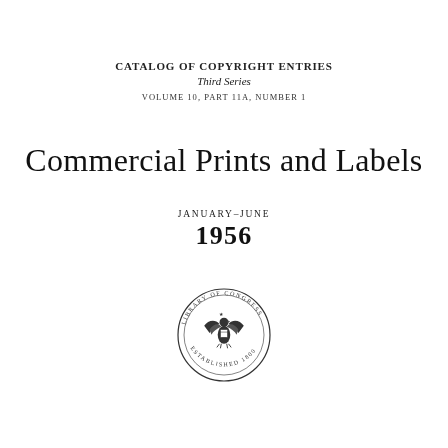CATALOG OF COPYRIGHT ENTRIES
Third Series
VOLUME 10, PART 11A, NUMBER 1
Commercial Prints and Labels
JANUARY-JUNE
1956
[Figure (logo): Library of Congress circular seal/emblem with eagle and text around the border]